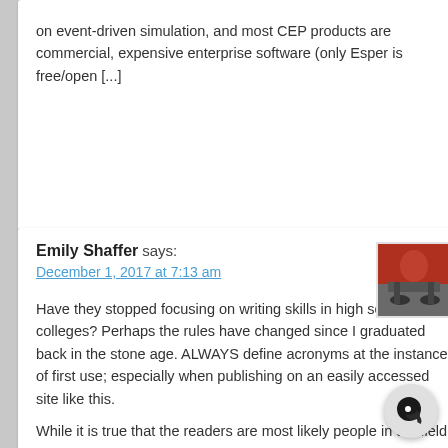on event-driven simulation, and most CEP products are commercial, expensive enterprise software (only Esper is free/open [...]
Emily Shaffer says: December 1, 2017 at 7:13 am
[Figure (photo): Avatar photo of Emily Shaffer, person on bicycle wearing red jacket]
Have they stopped focusing on writing skills in high schools and colleges? Perhaps the rules have changed since I graduated back in the stone age. ALWAYS define acronyms at the instance of first use; especially when publishing on an easily accessed site like this.
While it is true that the readers are most likely people in the field with a passing familiarity of the terms not ALL the people who come here will already know the lingo. It's annoying when